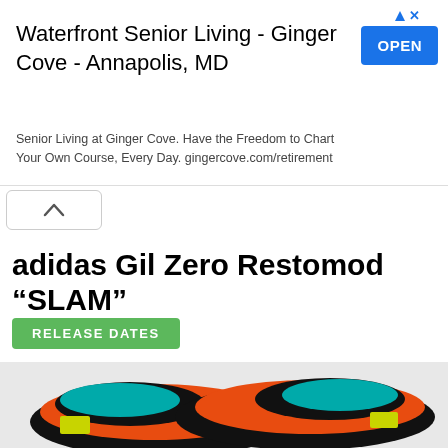[Figure (screenshot): Advertisement banner for Waterfront Senior Living - Ginger Cove - Annapolis, MD with an OPEN button]
Waterfront Senior Living - Ginger Cove - Annapolis, MD
Senior Living at Ginger Cove. Have the Freedom to Chart Your Own Course, Every Day. gingercove.com/retirement
adidas Gil Zero Restomod “SLAM”
RELEASE DATES
[Figure (photo): Adidas Gil Zero Restomod SLAM sneakers in orange, black, teal, and yellow colorway]